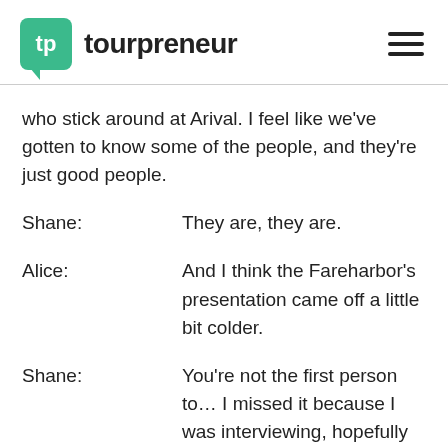tp tourpreneur
who stick around at Arival. I feel like we've gotten to know some of the people, and they're just good people.
Shane:              They are, they are.
Alice:               And I think the Fareharbor's presentation came off a little bit colder.
Shane:               You're not the first person to… I missed it because I was interviewing, hopefully Douglas and Bruce are going to allow us to air the Arival sessions on the Tourpreneur podcast that